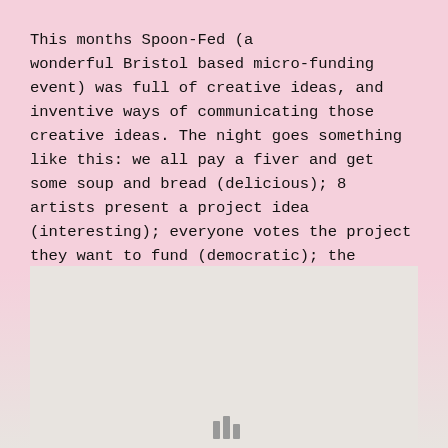This months Spoon-Fed (a wonderful Bristol based micro-funding event) was full of creative ideas, and inventive ways of communicating those creative ideas. The night goes something like this: we all pay a fiver and get some soup and bread (delicious); 8 artists present a project idea (interesting); everyone votes the project they want to fund (democratic); the artist with…
[Figure (other): Light gray/beige rectangular area at the bottom of the page, with small bar chart icon at the very bottom center]